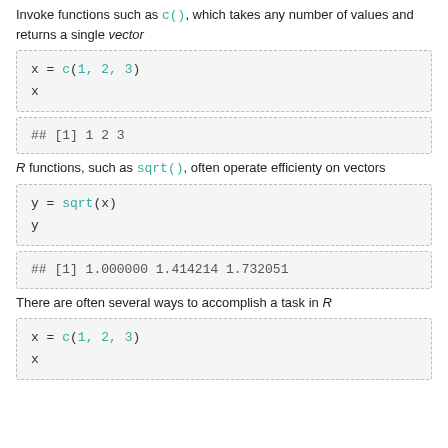Invoke functions such as c(), which takes any number of values and returns a single vector
R functions, such as sqrt(), often operate efficienty on vectors
There are often several ways to accomplish a task in R